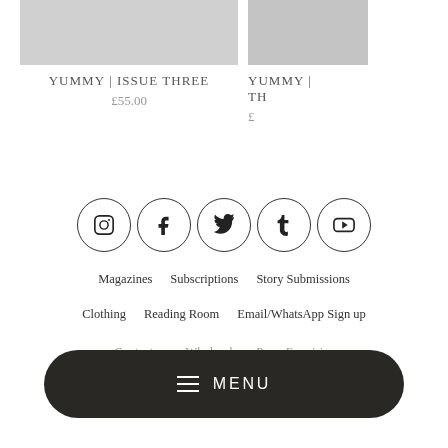YUMMY | ISSUE THREE
£55.00
YUMMY | TH...
£...
[Figure (illustration): Row of five social media icon circles: Instagram, Facebook, Twitter, Tumblr, YouTube]
Magazines    Subscriptions    Story Submissions
Clothing    Reading Room    Email/WhatsApp Sign up
Contact us    Wholesale    Press Enquiries
[Figure (other): Dark rounded MENU button with hamburger icon and text MENU]